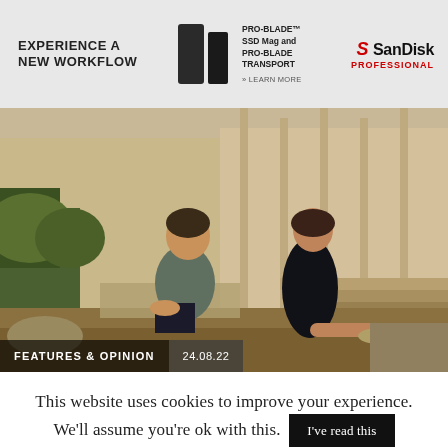[Figure (other): Advertisement banner for SanDisk Professional showing PRO-BLADE SSD Mag and PRO-BLADE Transport devices. Left text: EXPERIENCE A NEW WORKFLOW. Center: product images and text 'PRO-BLADE SSD Mag and PRO-BLADE TRANSPORT' with '» LEARN MORE'. Right: SanDisk Professional logo in red and black.]
[Figure (photo): Photo of a young man and woman sitting on stone steps outside a classical building. The man wears a grey t-shirt and dark shorts; the woman wears a black sleeveless dress. Warm golden light suggests late afternoon.]
FEATURES & OPINION   24.08.22
This website uses cookies to improve your experience. We'll assume you're ok with this. I've read this